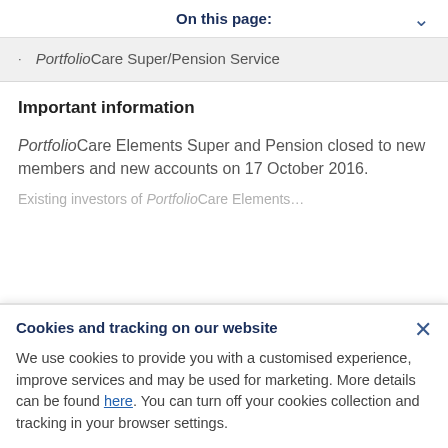On this page:
PortfolioCare Super/Pension Service
Important information
PortfolioCare Elements Super and Pension closed to new members and new accounts on 17 October 2016.
Existing investors of PortfolioCare Elements…
Cookies and tracking on our website
We use cookies to provide you with a customised experience, improve services and may be used for marketing. More details can be found here. You can turn off your cookies collection and tracking in your browser settings.